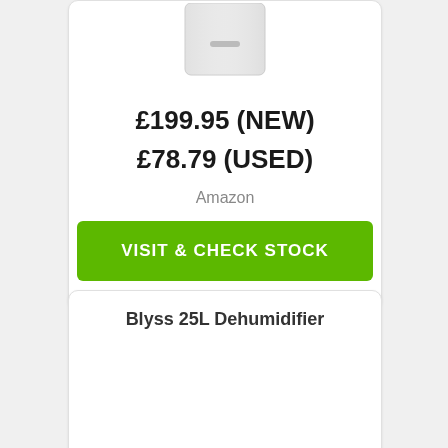[Figure (photo): Partial view of a white dehumidifier product image, cropped at the top]
£199.95 (NEW)
£78.79 (USED)
Amazon
VISIT & CHECK STOCK
Blyss 25L Dehumidifier